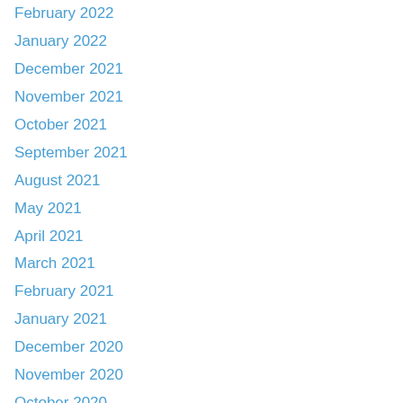February 2022
January 2022
December 2021
November 2021
October 2021
September 2021
August 2021
May 2021
April 2021
March 2021
February 2021
January 2021
December 2020
November 2020
October 2020
September 2020
April 2020
March 2020
February 2020
January 2020